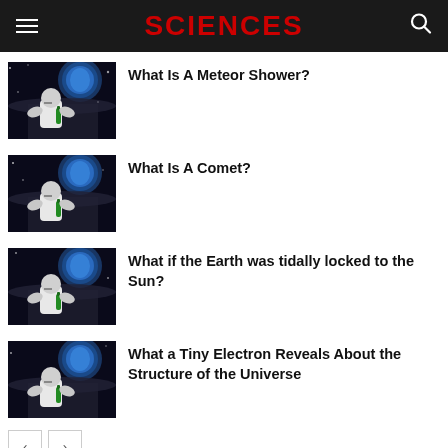SCIENCES
What Is A Meteor Shower?
[Figure (photo): Space scene showing astronaut figure on moon surface with Earth in background]
What Is A Comet?
[Figure (photo): Space scene showing astronaut figure on moon surface with Earth in background]
What if the Earth was tidally locked to the Sun?
[Figure (photo): Space scene showing astronaut figure on moon surface with Earth in background]
What a Tiny Electron Reveals About the Structure of the Universe
[Figure (photo): Space scene showing astronaut figure on moon surface with Earth in background]